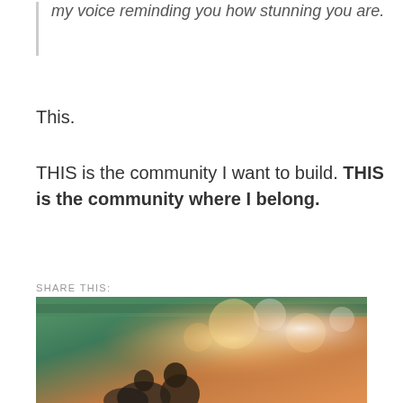my voice reminding you how stunning you are.
This.
THIS is the community I want to build. THIS is the community where I belong.
SHARE THIS:
Twitter
Facebook
Loading...
[Figure (photo): Photo of people at a colorful outdoor event with bokeh lights, seen from behind]